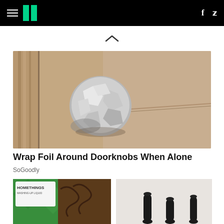HuffPost navigation bar with hamburger menu, logo, facebook and twitter icons
[Figure (photo): Close-up photo of a door knob wrapped in aluminum foil on a beige/tan textured door]
Wrap Foil Around Doorknobs When Alone
SoGoodly
[Figure (photo): Bottom left: product with green diamond pattern label reading HOMETHINGS WASHING-UP LIQUID with curly hair]
[Figure (photo): Bottom right: black table legs on light background]